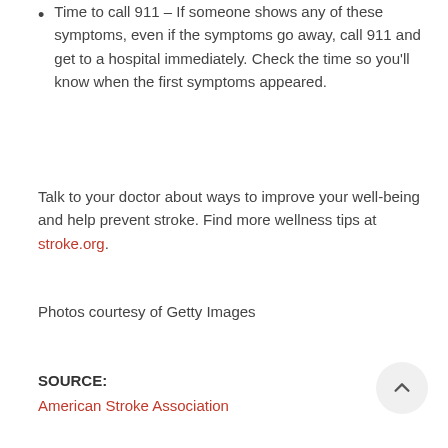Time to call 911 – If someone shows any of these symptoms, even if the symptoms go away, call 911 and get to a hospital immediately. Check the time so you'll know when the first symptoms appeared.
Talk to your doctor about ways to improve your well-being and help prevent stroke. Find more wellness tips at stroke.org.
Photos courtesy of Getty Images
SOURCE:
American Stroke Association